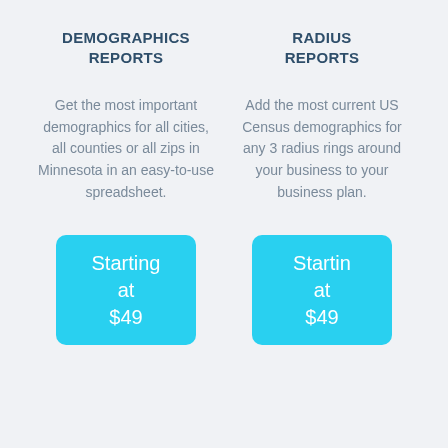DEMOGRAPHICS REPORTS
Get the most important demographics for all cities, all counties or all zips in Minnesota in an easy-to-use spreadsheet.
Starting at $49
RADIUS REPORTS
Add the most current US Census demographics for any 3 radius rings around your business to your business plan.
Starting at $49